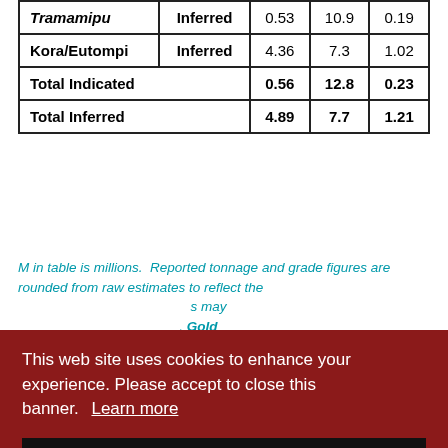|  |  | Mt | g/t Au | Moz Au |
| --- | --- | --- | --- | --- |
| Tramamipu | Inferred | 0.53 | 10.9 | 0.19 |
| Kora/Eutompi | Inferred | 4.36 | 7.3 | 1.02 |
| Total Indicated |  | 0.56 | 12.8 | 0.23 |
| Total Inferred |  | 4.89 | 7.7 | 1.21 |
M in table is millions. Reported tonnage and grade figures are rounded from raw estimates to reflect the appropriate precision. Summed amounts may not match rounded total. Gold equivalent calculations use g*1.52+
...ration ...berson nt 43- s, has reviewed and is responsible for the technical content of